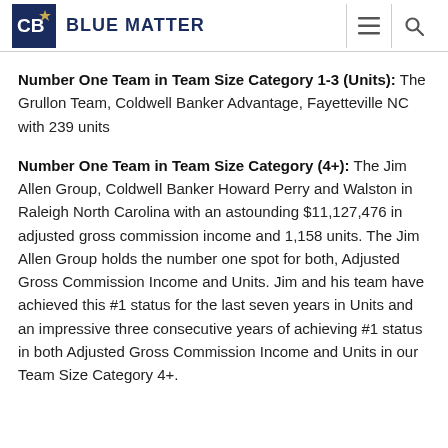BLUE MATTER
Number One Team in Team Size Category 1-3 (Units): The Grullon Team, Coldwell Banker Advantage, Fayetteville NC with 239 units
Number One Team in Team Size Category (4+): The Jim Allen Group, Coldwell Banker Howard Perry and Walston in Raleigh North Carolina with an astounding $11,127,476 in adjusted gross commission income and 1,158 units. The Jim Allen Group holds the number one spot for both, Adjusted Gross Commission Income and Units. Jim and his team have achieved this #1 status for the last seven years in Units and an impressive three consecutive years of achieving #1 status in both Adjusted Gross Commission Income and Units in our Team Size Category 4+.